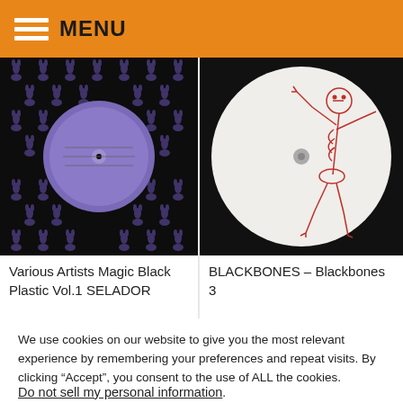MENU
[Figure (photo): Album cover: Various Artists Magic Black Plastic Vol.1 SELADOR - black background with repeating purple rabbit head pattern and a purple vinyl record label in center]
Various Artists Magic Black Plastic Vol.1 SELADOR
[Figure (photo): Album cover: BLACKBONES Blackbones 3 - white background with a red ink drawing of a skeleton figure suspended/hanging]
BLACKBONES – Blackbones 3
We use cookies on our website to give you the most relevant experience by remembering your preferences and repeat visits. By clicking "Accept", you consent to the use of ALL the cookies.
Do not sell my personal information.
Cookie Settings
Accept